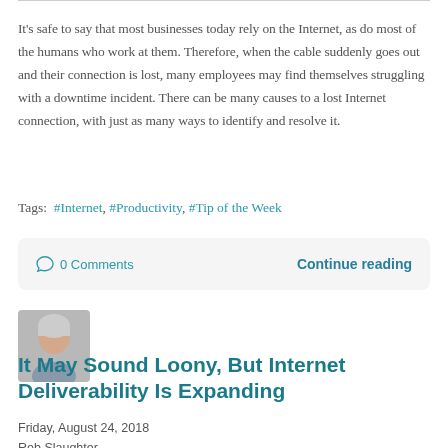It's safe to say that most businesses today rely on the Internet, as do most of the humans who work at them. Therefore, when the cable suddenly goes out and their connection is lost, many employees may find themselves struggling with a downtime incident. There can be many causes to a lost Internet connection, with just as many ways to identify and resolve it.
Tags:  #Internet,  #Productivity,  #Tip of the Week
0 Comments    Continue reading
[Figure (photo): Headshot photo of Rob Slaughter, a man with gray/white hair]
It May Sound Loony, But Internet Deliverability Is Expanding
Friday, August 24, 2018
Rob Slaughter
Data Net Blog, Technology,